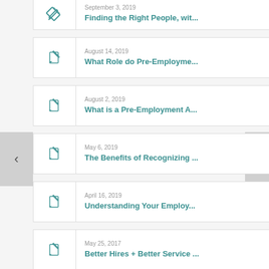September 3, 2019 — Finding the Right People, wit...
August 14, 2019 — What Role do Pre-Employme...
August 2, 2019 — What is a Pre-Employment A...
May 6, 2019 — The Benefits of Recognizing ...
April 16, 2019 — Understanding Your Employ...
May 25, 2017 — Better Hires + Better Service ...